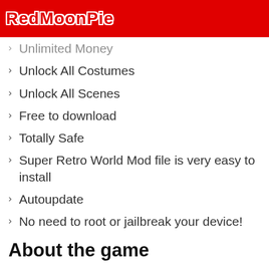RedMoonPie
Unlimited Money
Unlock All Costumes
Unlock All Scenes
Free to download
Totally Safe
Super Retro World Mod file is very easy to install
Autoupdate
No need to root or jailbreak your device!
About the game
The world needs you. Only you can save the world. Don't these words create havoc in your mind and a strong patriotic ambition to rescue the world from all existing dangers? Give direction to